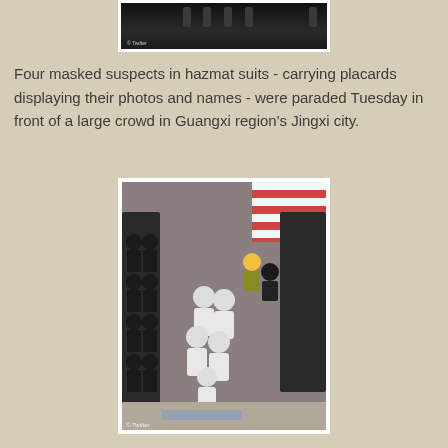[Figure (photo): Aerial or overhead screenshot from Twitter showing a crowd scene, partially visible at top of page]
Four masked suspects in hazmat suits - carrying placards displaying their photos and names - were paraded Tuesday in front of a large crowd in Guangxi region's Jingxi city.
[Figure (photo): Aerial view from Twitter showing people in white hazmat suits being paraded through two lines of people in dark uniforms/police gear, in a public square in Jingxi city, Guangxi region]